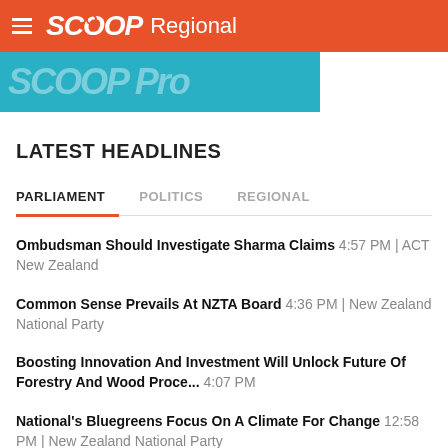SCOOP Regional
[Figure (screenshot): Scoop Pro banner image in teal/cyan color]
LATEST HEADLINES
PARLIAMENT | POLITICS | REGIONAL (tabs)
Ombudsman Should Investigate Sharma Claims 4:57 PM | ACT New Zealand
Common Sense Prevails At NZTA Board 4:36 PM | New Zealand National Party
Boosting Innovation And Investment Will Unlock Future Of Forestry And Wood Proce... 4:07 PM
National's Bluegreens Focus On A Climate For Change 12:58 PM | New Zealand National Party
Immigration Failures Are Taking Kiwi Backwards 11:05 AM | New Zealand National Party
Under-Secretary To Attend Regional Fisheries Meetings In Kiribati 10:34